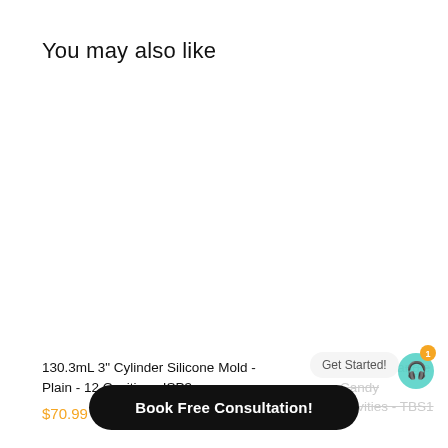You may also like
130.3mL 3" Cylinder Silicone Mold - Plain - 12 Cavities - ISP3
$70.99
5mL Rectangle Candy Cavities - TBS1
Get Started!
Book Free Consultation!